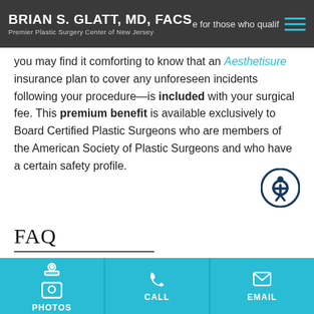BRIAN S. GLATT, MD, FACS — Premier Plastic Surgery Center of New Jersey
you may find it comforting to know that an Aesthetisure insurance plan to cover any unforeseen incidents following your procedure—is included with your surgical fee. This premium benefit is available exclusively to Board Certified Plastic Surgeons who are members of the American Society of Plastic Surgeons and who have a certain safety profile.
FAQ
HOW LONG DOES A BREAST LIFT
PHOTOS | CALL | EMAIL